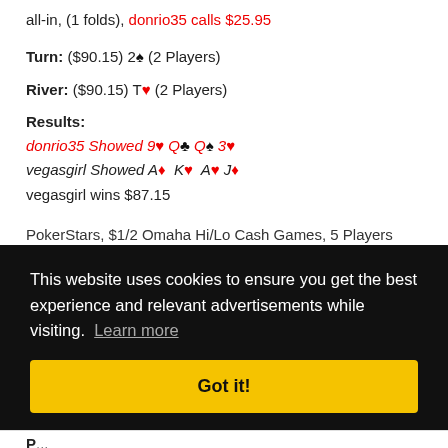all-in, (1 folds), donrio35 calls $25.95
Turn: ($90.15) 2♠ (2 Players)
River: ($90.15) T♥ (2 Players)
Results:
donrio35 Showed 9♥ Q♣ Q♠ 3♥
vegasgirl Showed A♦ K♥ A♥ J♦
vegasgirl wins $87.15
PokerStars, $1/2 Omaha Hi/Lo Cash Games, 5 Players
This website uses cookies to ensure you get the best experience and relevant advertisements while visiting. Learn more
Got it!